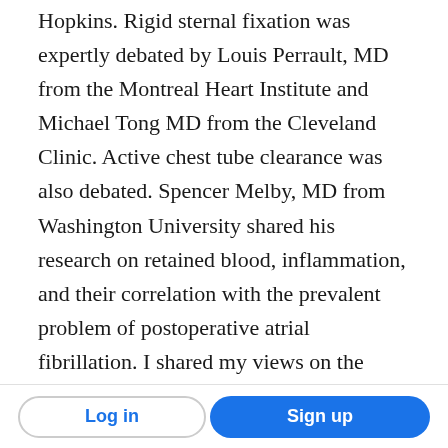Hopkins. Rigid sternal fixation was expertly debated by Louis Perrault, MD from the Montreal Heart Institute and Michael Tong MD from the Cleveland Clinic. Active chest tube clearance was also debated. Spencer Melby, MD from Washington University shared his research on retained blood, inflammation, and their correlation with the prevalent problem of postoperative atrial fibrillation. I shared my views on the need for a more comprehensive understanding of chest drains (procedure, type of drain and combinations, location of tubes, etc.) and prioritized research like that being done by Drs. Melby and Perrault.
Log in | Sign up